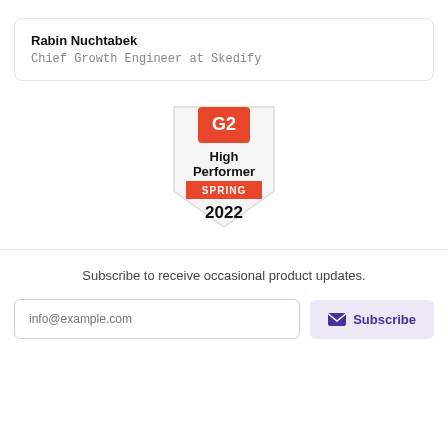Rabin Nuchtabek
Chief Growth Engineer at Skedify
[Figure (logo): G2 High Performer Spring 2022 badge — shield shape with G2 logo in red at top, 'High Performer' in bold black, orange 'SPRING' banner, '2022' in large bold black text]
Subscribe to receive occasional product updates.